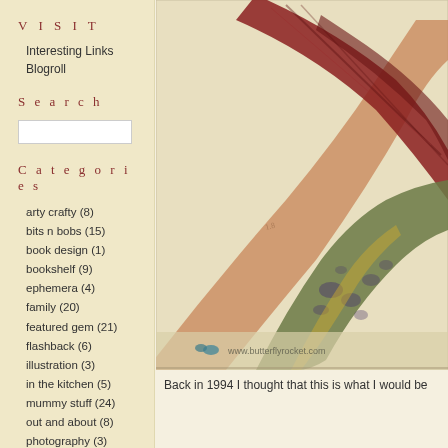VISIT
Interesting Links
Blogroll
Search
Categories
arty crafty (8)
bits n bobs (15)
book design (1)
bookshelf (9)
ephemera (4)
family (20)
featured gem (21)
flashback (6)
illustration (3)
in the kitchen (5)
mummy stuff (24)
out and about (8)
photography (3)
swaps & play (11)
textiles (5)
things with wings (10)
thrifting (5)
[Figure (photo): Close-up photo of pressed botanical leaves/feathers in muted red, brown, orange and green tones on a cream background, with www.butterflyrocket.com watermark at the bottom.]
Back in 1994 I thought that this is what I would be